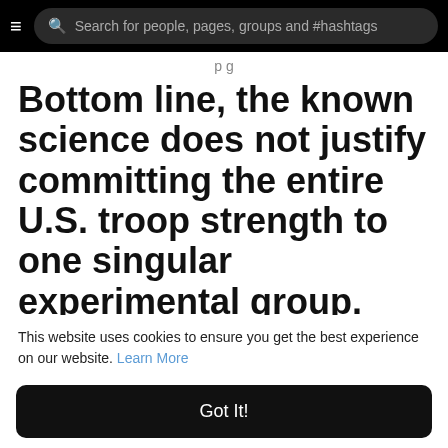Search for people, pages, groups and #hashtags
p g
Bottom line, the known science does not justify committing the entire U.S. troop strength to one singular experimental group.
Given the many unknowns and what we have
This website uses cookies to ensure you get the best experience on our website. Learn More
Got It!